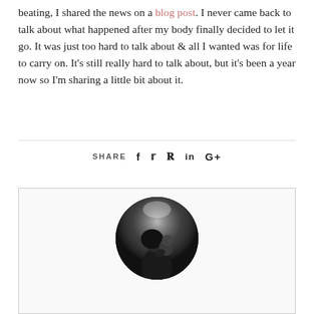beating, I shared the news on a blog post. I never came back to talk about what happened after my body finally decided to let it go. It was just too hard to talk about & all I wanted was for life to carry on. It's still really hard to talk about, but it's been a year now so I'm sharing a little bit about it.
SHARE  f  𝕏  ℘  in  G+
[Figure (photo): Black and white circular portrait photo of a woman holding a baby, with soft backlighting, inside a bordered white card/box.]